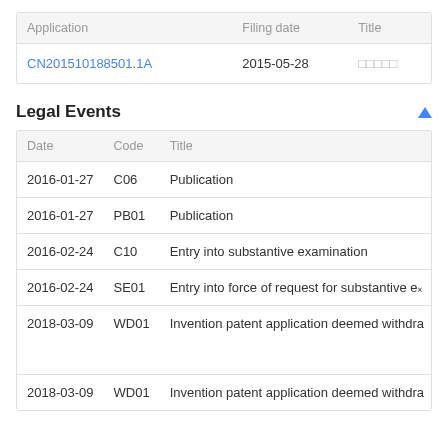| Application | Filing date | Title |
| --- | --- | --- |
| CN201510188501.1A | 2015-05-28 | □□□□□ |
Legal Events
| Date | Code | Title |
| --- | --- | --- |
| 2016-01-27 | C06 | Publication |
| 2016-01-27 | PB01 | Publication |
| 2016-02-24 | C10 | Entry into substantive examination |
| 2016-02-24 | SE01 | Entry into force of request for substantive ex… |
| 2018-03-09 | WD01 | Invention patent application deemed withdra… |
| 2018-03-09 | WD01 | Invention patent application deemed withdra… |